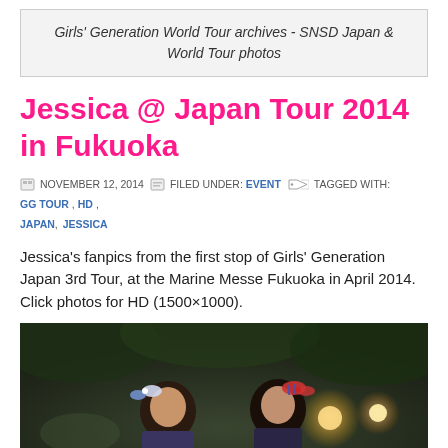Girls' Generation World Tour archives - SNSD Japan & World Tour photos
Jessica @ Japan Tour 2014 in Fukuoka
NOVEMBER 12, 2014  FILED UNDER: EVENT  TAGGED WITH: GG TOUR, HD, JAPAN, JESSICA
Jessica's fanpics from the first stop of Girls' Generation Japan 3rd Tour, at the Marine Messe Fukuoka in April 2014. Click photos for HD (1500×1000).
[Figure (photo): Photo of performers at Japan Tour 2014 in Fukuoka, showing two people with hair accessories against a dark background with stage lights]